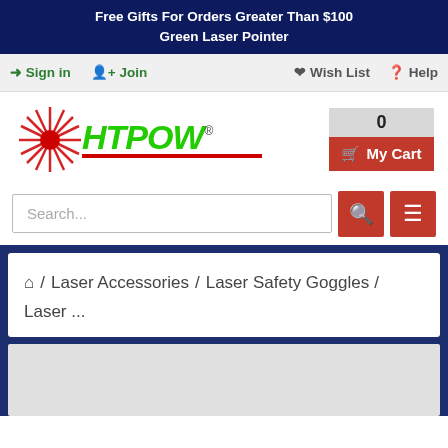Free Gifts For Orders Greater Than $100
Green Laser Pointer
Sign in   Join   Wish List   Help
[Figure (logo): HTPOW laser brand logo with red starburst/laser icon and green bold HTPOW text with registered trademark symbol]
0
My Cart
Search...
/ Laser Accessories / Laser Safety Goggles / Laser ...